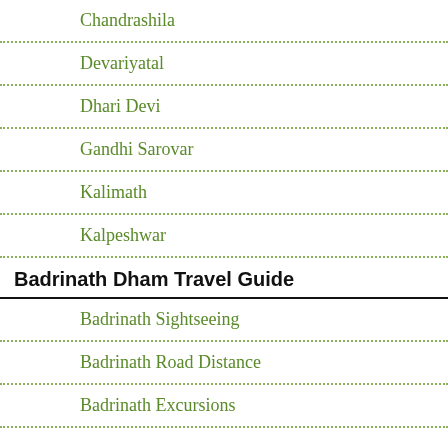Chandrashila
Devariyatal
Dhari Devi
Gandhi Sarovar
Kalimath
Kalpeshwar
Badrinath Dham Travel Guide
Badrinath Sightseeing
Badrinath Road Distance
Badrinath Excursions